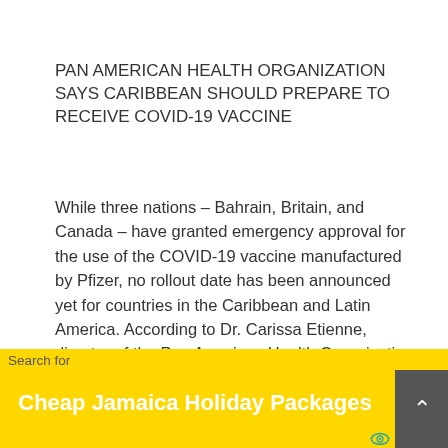PAN AMERICAN HEALTH ORGANIZATION SAYS CARIBBEAN SHOULD PREPARE TO RECEIVE COVID-19 VACCINE
While three nations – Bahrain, Britain, and Canada – have granted emergency approval for the use of the COVID-19 vaccine manufactured by Pfizer, no rollout date has been announced yet for countries in the Caribbean and Latin America. According to Dr. Carissa Etienne, director of the Pan American Health Organization (PAHO), said that several vaccine candidates are being considered, no vaccine has yet been approved for distribution in those areas. However, PAHO has called health ministers from Latin America and the Caribbean to a meeting designed to prepare for the purchase and distribution of a COVID-19 vaccine when it becomes available. The ministers will also
Search for
Cheap Jamaica Holiday Packages